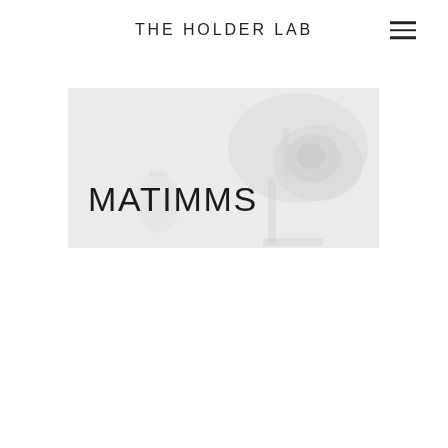THE HOLDER LAB
MATIMMS
[Figure (photo): Light gray banner image showing a faint laboratory background (microscope/glassware, very light and washed out) with the title MATIMMS overlaid in large thin uppercase letters]